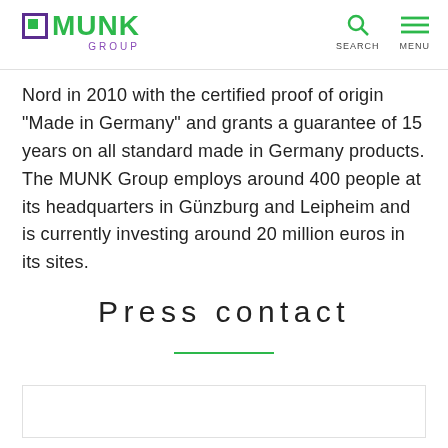MUNK GROUP | SEARCH | MENU
Nord in 2010 with the certified proof of origin “Made in Germany” and grants a guarantee of 15 years on all standard made in Germany products. The MUNK Group employs around 400 people at its headquarters in Günzburg and Leipheim and is currently investing around 20 million euros in its sites.
Press contact